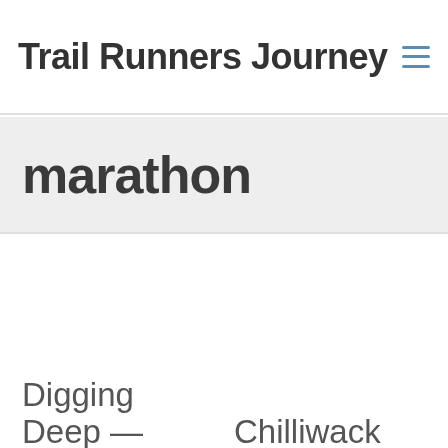Trail Runners Journey
marathon
Digging Deep —
Chilliwack